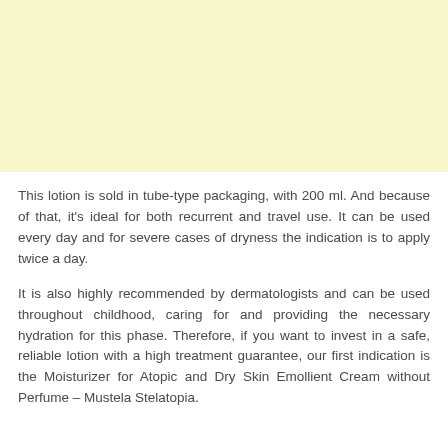[Figure (other): Light yellow/cream colored rectangular image area at the top of the page]
This lotion is sold in tube-type packaging, with 200 ml. And because of that, it's ideal for both recurrent and travel use. It can be used every day and for severe cases of dryness the indication is to apply twice a day.
It is also highly recommended by dermatologists and can be used throughout childhood, caring for and providing the necessary hydration for this phase. Therefore, if you want to invest in a safe, reliable lotion with a high treatment guarantee, our first indication is the Moisturizer for Atopic and Dry Skin Emollient Cream without Perfume – Mustela Stelatopia.